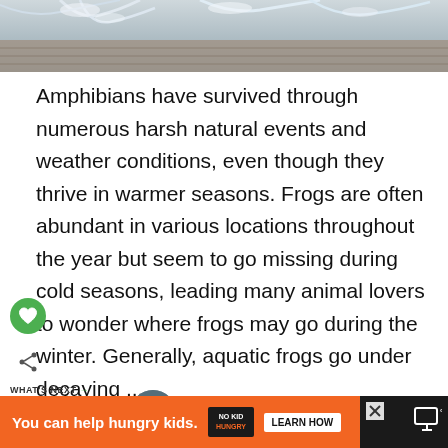[Figure (photo): Frost-covered branches on a wooden surface, top of article image]
Amphibians have survived through numerous harsh natural events and weather conditions, even though they thrive in warmer seasons. Frogs are often abundant in various locations throughout the year but seem to go missing during cold seasons, leading many animal lovers to wonder where frogs may go during the winter. Generally, aquatic frogs go under decaying ...
[Figure (photo): Round thumbnail image of a frog, related article preview for 'When Do Frogs Come...']
WHAT'S NEXT → When Do Frogs Come...
[Figure (infographic): Advertisement bar: You can help hungry kids. NO KID HUNGRY. LEARN HOW]